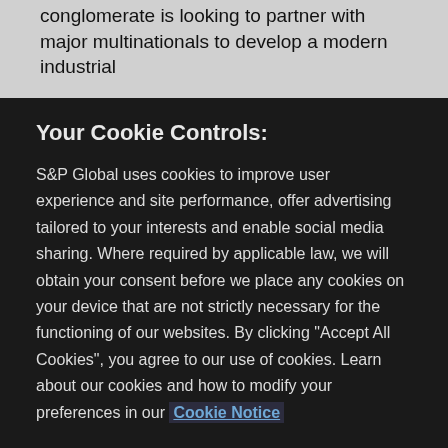conglomerate is looking to partner with major multinationals to develop a modern industrial
Your Cookie Controls:
S&P Global uses cookies to improve user experience and site performance, offer advertising tailored to your interests and enable social media sharing. Where required by applicable law, we will obtain your consent before we place any cookies on your device that are not strictly necessary for the functioning of our websites. By clicking "Accept All Cookies", you agree to our use of cookies. Learn about our cookies and how to modify your preferences in our Cookie Notice